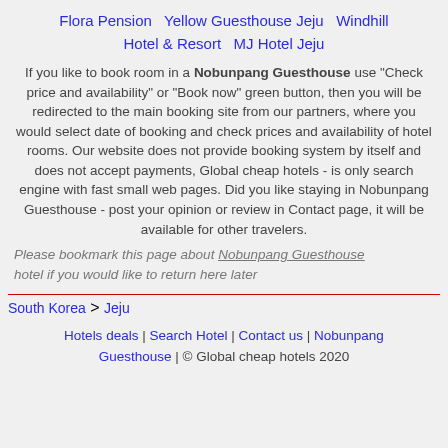Flora Pension   Yellow Guesthouse Jeju   Windhill Hotel & Resort   MJ Hotel Jeju
If you like to book room in a Nobunpang Guesthouse use "Check price and availability" or "Book now" green button, then you will be redirected to the main booking site from our partners, where you would select date of booking and check prices and availability of hotel rooms. Our website does not provide booking system by itself and does not accept payments, Global cheap hotels - is only search engine with fast small web pages. Did you like staying in Nobunpang Guesthouse - post your opinion or review in Contact page, it will be available for other travelers.
Please bookmark this page about Nobunpang Guesthouse hotel if you would like to return here later
South Korea > Jeju
Hotels deals | Search Hotel | Contact us | Nobunpang Guesthouse | © Global cheap hotels 2020